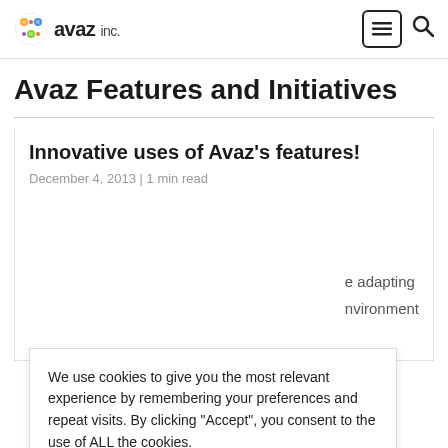avaz inc. [logo] [hamburger menu] [search]
Avaz Features and Initiatives
Innovative uses of Avaz's features!
December 4, 2013 | 1 min read
e adapting nvironment
We use cookies to give you the most relevant experience by remembering your preferences and repeat visits. By clicking “Accept”, you consent to the use of ALL the cookies.
Cookie settings   ACCEPT